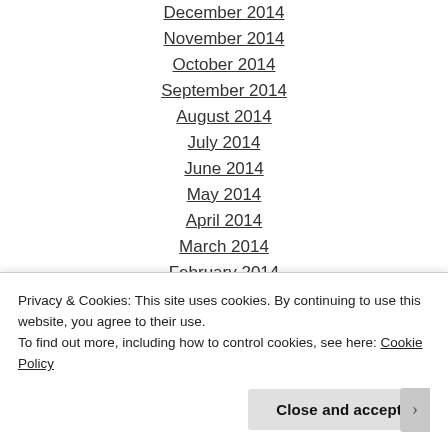December 2014
November 2014
October 2014
September 2014
August 2014
July 2014
June 2014
May 2014
April 2014
March 2014
February 2014
January 2014
December 2013
November 2013
Privacy & Cookies: This site uses cookies. By continuing to use this website, you agree to their use.
To find out more, including how to control cookies, see here: Cookie Policy
Close and accept